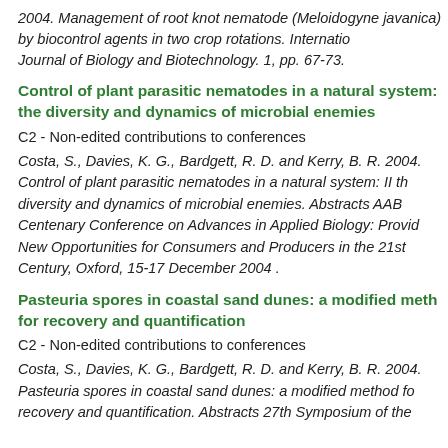2004. Management of root knot nematode (Meloidogyne javanica) by biocontrol agents in two crop rotations. International Journal of Biology and Biotechnology. 1, pp. 67-73.
Control of plant parasitic nematodes in a natural system: II the diversity and dynamics of microbial enemies
C2 - Non-edited contributions to conferences
Costa, S., Davies, K. G., Bardgett, R. D. and Kerry, B. R. 2004. Control of plant parasitic nematodes in a natural system: II the diversity and dynamics of microbial enemies. Abstracts AAB Centenary Conference on Advances in Applied Biology: Providing New Opportunities for Consumers and Producers in the 21st Century, Oxford, 15-17 December 2004 .
Pasteuria spores in coastal sand dunes: a modified method for recovery and quantification
C2 - Non-edited contributions to conferences
Costa, S., Davies, K. G., Bardgett, R. D. and Kerry, B. R. 2004. Pasteuria spores in coastal sand dunes: a modified method for recovery and quantification. Abstracts 27th Symposium of the